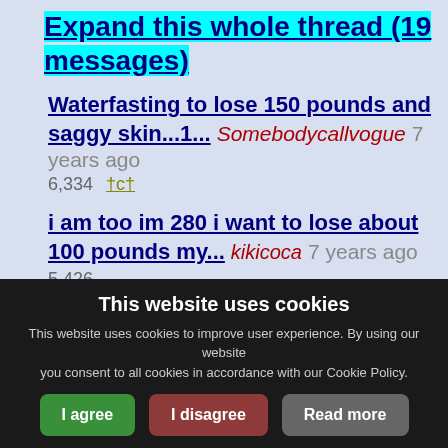Expand this whole thread (19 messages)
Waterfasting to lose 150 pounds and saggy skin...1... Somebodycallvogue 7 years ago 6,334 †c†
i am too im 280 i want to lose about 100 pounds my... kikicoca 7 years ago 5,426
No No White Shark 7 years ago 5,427
This website uses cookies
This website uses cookies to improve user experience. By using our website you consent to all cookies in accordance with our Cookie Policy.